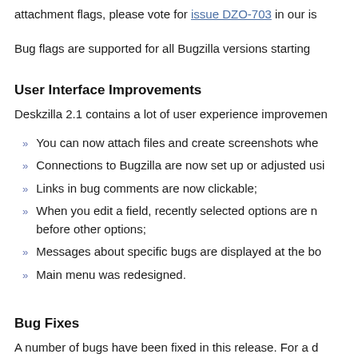attachment flags, please vote for issue DZO-703 in our is
Bug flags are supported for all Bugzilla versions starting
User Interface Improvements
Deskzilla 2.1 contains a lot of user experience improvemen
You can now attach files and create screenshots whe
Connections to Bugzilla are now set up or adjusted usi
Links in bug comments are now clickable;
When you edit a field, recently selected options are n before other options;
Messages about specific bugs are displayed at the bo
Main menu was redesigned.
Bug Fixes
A number of bugs have been fixed in this release. For a d